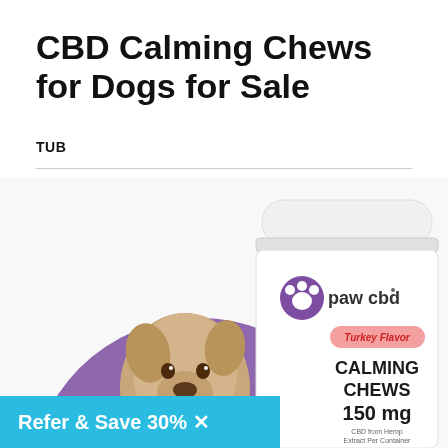CBD Calming Chews for Dogs for Sale
TUB
[Figure (photo): Product photo of paw cbd Calming Chews 150mg Turkey Flavor tub with a dog image on the label, showing the white container with purple paw logo and pink Turkey Flavor badge]
Refer & Save 30% X